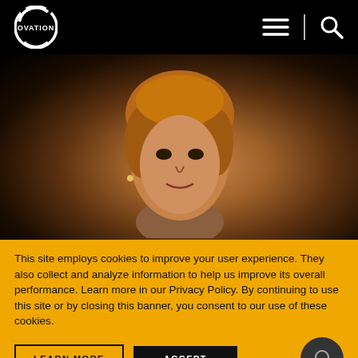[Figure (logo): Ovation TV logo — circular ring with OVATION text inside, white on black background]
[Figure (photo): Person with auburn/blonde hair against a dark background, photographed from shoulders up]
This site employs cookies to improve your user experience. They also collect and analyze information to help us improve its overall performance. Learn more in our Privacy Policy. By continuing to use this site or by closing this banner, you consent to our use of these cookies.
LEARN MORE
ACCEPT